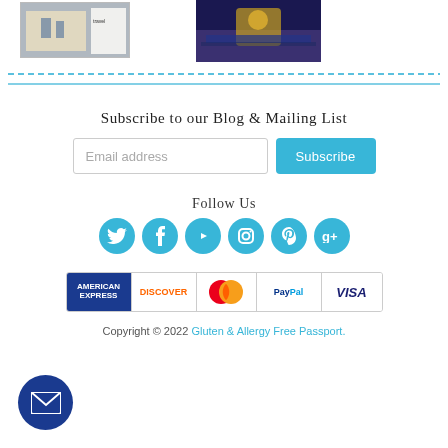[Figure (photo): Two thumbnail images at top: a travel guide cover (Venice) and a night cityscape photo]
Subscribe to our Blog & Mailing List
[Figure (other): Email address input field with Subscribe button]
Follow Us
[Figure (other): Social media icons: Twitter, Facebook, YouTube, Instagram, Pinterest, Google+]
[Figure (other): Payment method logos: American Express, Discover, Mastercard, PayPal, Visa]
Copyright © 2022 Gluten & Allergy Free Passport.
[Figure (other): Mail/envelope icon button in bottom-left corner (dark blue circle)]